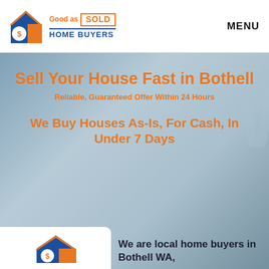[Figure (logo): Good as SOLD Home Buyers logo with house icon]
MENU
Sell Your House Fast in Bothell
Reliable, Guaranteed Offer Within 24 Hours
We Buy Houses As-Is, For Cash, In Under 7 Days
We are local home buyers in Bothell WA,